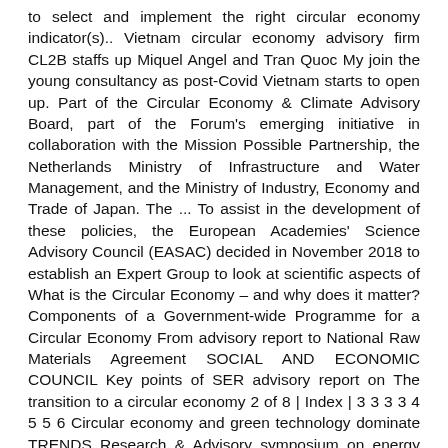to select and implement the right circular economy indicator(s).. Vietnam circular economy advisory firm CL2B staffs up Miquel Angel and Tran Quoc My join the young consultancy as post-Covid Vietnam starts to open up. Part of the Circular Economy & Climate Advisory Board, part of the Forum's emerging initiative in collaboration with the Mission Possible Partnership, the Netherlands Ministry of Infrastructure and Water Management, and the Ministry of Industry, Economy and Trade of Japan. The ... To assist in the development of these policies, the European Academies' Science Advisory Council (EASAC) decided in November 2018 to establish an Expert Group to look at scientific aspects of What is the Circular Economy – and why does it matter? Components of a Government-wide Programme for a Circular Economy From advisory report to National Raw Materials Agreement SOCIAL AND ECONOMIC COUNCIL Key points of SER advisory report on The transition to a circular economy 2 of 8 | Index | 3 3 3 3 4 5 5 6 Circular economy and green technology dominate TRENDS Research & Advisory symposium on energy and sustainability "With 12.6% growth, MENA is among the fastest-growing regions in renewable energy. Focus areas: Circular economy isn't a new idea and it